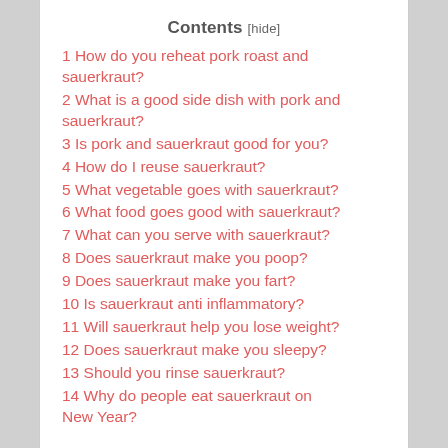Contents [hide]
1 How do you reheat pork roast and sauerkraut?
2 What is a good side dish with pork and sauerkraut?
3 Is pork and sauerkraut good for you?
4 How do I reuse sauerkraut?
5 What vegetable goes with sauerkraut?
6 What food goes good with sauerkraut?
7 What can you serve with sauerkraut?
8 Does sauerkraut make you poop?
9 Does sauerkraut make you fart?
10 Is sauerkraut anti inflammatory?
11 Will sauerkraut help you lose weight?
12 Does sauerkraut make you sleepy?
13 Should you rinse sauerkraut?
14 Why do people eat sauerkraut on New Year?